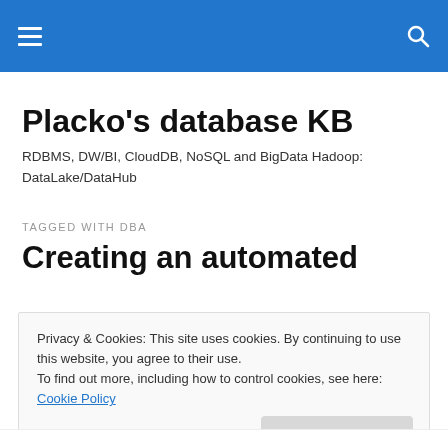Placko's database KB
Placko's database KB
RDBMS, DW/BI, CloudDB, NoSQL and BigData Hadoop: DataLake/DataHub
TAGGED WITH DBA
Creating an automated
Privacy & Cookies: This site uses cookies. By continuing to use this website, you agree to their use.
To find out more, including how to control cookies, see here: Cookie Policy